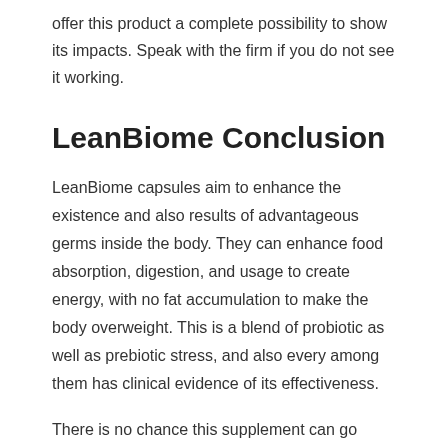offer this product a complete possibility to show its impacts. Speak with the firm if you do not see it working.
LeanBiome Conclusion
LeanBiome capsules aim to enhance the existence and also results of advantageous germs inside the body. They can enhance food absorption, digestion, and usage to create energy, with no fat accumulation to make the body overweight. This is a blend of probiotic as well as prebiotic stress, and also every among them has clinical evidence of its effectiveness.
There is no chance this supplement can go wrong for an individual, however if the individual is miserable, he can request a full reimbursement within 180 days of purchase. If you have determined to give it a try, do not believe anymore and also visit the official site today to confirm the orders. The stock is selling quickly, and also it might end soon. Get LeanBiome while it is still